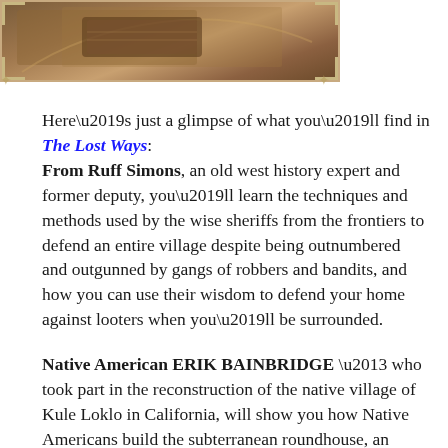[Figure (photo): Partial photo of a wooden surface with a decorative book or box, ornate corner frame decorations visible]
Here’s just a glimpse of what you’ll find in The Lost Ways:
From Ruff Simons, an old west history expert and former deputy, you’ll learn the techniques and methods used by the wise sheriffs from the frontiers to defend an entire village despite being outnumbered and outgunned by gangs of robbers and bandits, and how you can use their wisdom to defend your home against looters when you’ll be surrounded.
Native American ERIK BAINBRIDGE – who took part in the reconstruction of the native village of Kule Loklo in California, will show you how Native Americans build the subterranean roundhouse, an underground house that